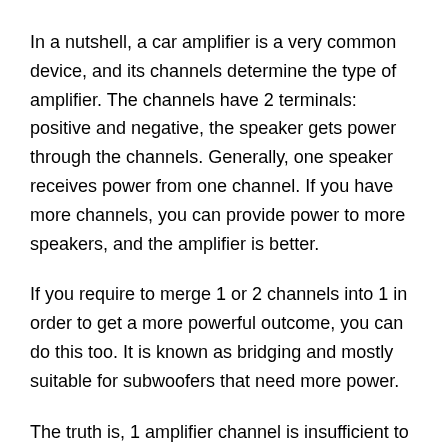In a nutshell, a car amplifier is a very common device, and its channels determine the type of amplifier. The channels have 2 terminals: positive and negative, the speaker gets power through the channels. Generally, one speaker receives power from one channel. If you have more channels, you can provide power to more speakers, and the amplifier is better.
If you require to merge 1 or 2 channels into 1 in order to get a more powerful outcome, you can do this too. It is known as bridging and mostly suitable for subwoofers that need more power.
The truth is, 1 amplifier channel is insufficient to power a subwoofer. That is why bridging is required to get sound from it.